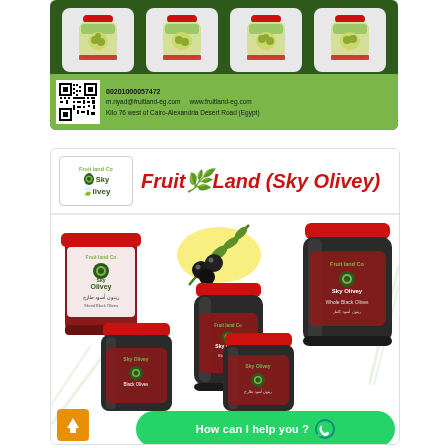[Figure (photo): Top advertisement banner for Fruit Land Co / Sky Olivey showing four green olive product jars in gray boxes on a dark green background, with contact info bar below showing QR code, phone 00201000057472, email m.riyad@fruitland-eg.com, website www.fruitland-eg.com, and address Kilo 76 west of Cairo-Alexandria Desert Road (Egypt)]
[Figure (photo): Bottom advertisement for Fruit Land Co Sky Olivey showing brand logo, large italic red text 'Fruit Land (Sky Olivey)', multiple black olive products (cans and jars with red lids labeled Sky Olivey Black Olives), fresh black olives image in center, orange up-arrow button, and green 'How can I help you?' WhatsApp button]